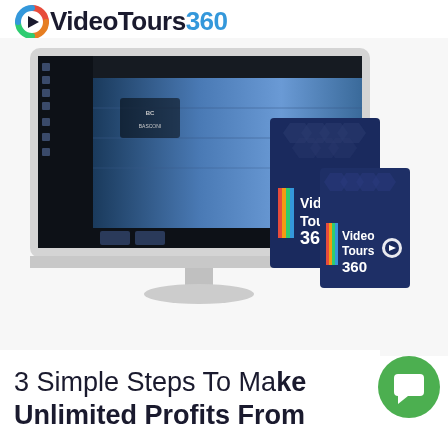[Figure (logo): VideoTours360 logo with colorful circular icon and text partially visible at top]
[Figure (illustration): Product mockup showing an iMac computer with 360 video editing software (BASCONI shoe store virtual tour), and two navy blue software boxes labeled Video Tours 360]
3 Simple Steps To Make Unlimited Profits From